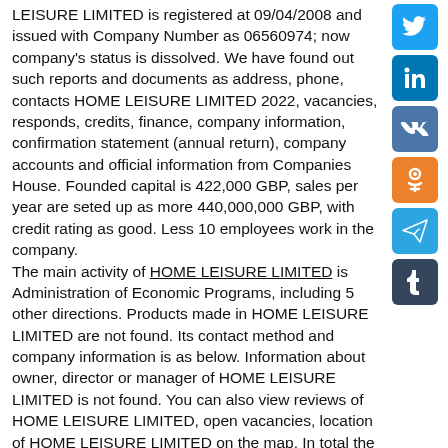LEISURE LIMITED is registered at 09/04/2008 and issued with Company Number as 06560974; now company's status is dissolved. We have found out such reports and documents as address, phone, contacts HOME LEISURE LIMITED 2022, vacancies, responds, credits, finance, company information, confirmation statement (annual return), company accounts and official information from Companies House. Founded capital is 422,000 GBP, sales per year are seted up as more 440,000,000 GBP, with credit rating as good. Less 10 employees work in the company. The main activity of HOME LEISURE LIMITED is Administration of Economic Programs, including 5 other directions. Products made in HOME LEISURE LIMITED are not found. Its contact method and company information is as below. Information about owner, director or manager of HOME LEISURE LIMITED is not found. You can also view reviews of HOME LEISURE LIMITED, open vacancies, location of HOME LEISURE LIMITED on the map. In total the company use 0 trading names. For more information visit